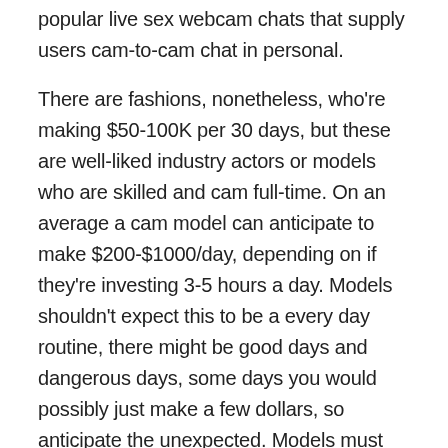popular live sex webcam chats that supply users cam-to-cam chat in personal.
There are fashions, nonetheless, who're making $50-100K per 30 days, but these are well-liked industry actors or models who are skilled and cam full-time. On an average a cam model can anticipate to make $200-$1000/day, depending on if they're investing 3-5 hours a day. Models shouldn't expect this to be a every day routine, there might be good days and dangerous days, some days you would possibly just make a few dollars, so anticipate the unexpected. Models must be prepared that camming websites will take a share of their income, on average about 35%, dependent upon website operation. But, she